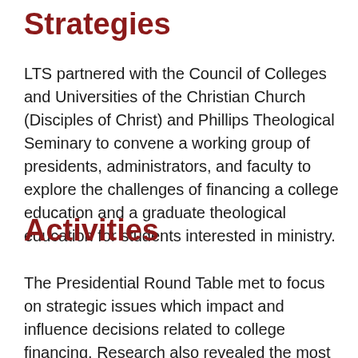Strategies
LTS partnered with the Council of Colleges and Universities of the Christian Church (Disciples of Christ) and Phillips Theological Seminary to convene a working group of presidents, administrators, and faculty to explore the challenges of financing a college education and a graduate theological education for students interested in ministry.
Activities
The Presidential Round Table met to focus on strategic issues which impact and influence decisions related to college financing. Research also revealed the most critical challenges